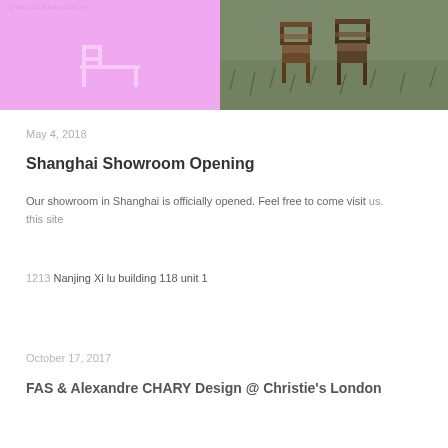[Figure (photo): Two-panel image: left panel is a pink/lavender promotional graphic with text '@ site 1213 Building 139 Unit 1' and a stylized logo/icon; right panel is a photo of wooden chairs on green grass.]
May 4, 2018
Shanghai Showroom Opening
Our showroom in Shanghai is officially opened. Feel free to come visit us.
this site
1213 Nanjing Xi lu building 118 unit 1
October 17, 2017
FAS & Alexandre CHARY Design @ Christie's London